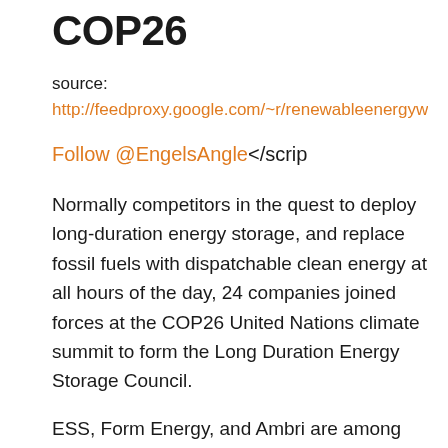COP26
source:
http://feedproxy.google.com/~r/renewableenergyworldblo
Follow @EngelsAngle</scrip
Normally competitors in the quest to deploy long-duration energy storage, and replace fossil fuels with dispatchable clean energy at all hours of the day, 24 companies joined forces at the COP26 United Nations climate summit to form the Long Duration Energy Storage Council.
ESS, Form Energy, and Ambri are among the founding members of the council, which aims to provide guidance to governments and grid operators on the path to deploying 85-140 TWh